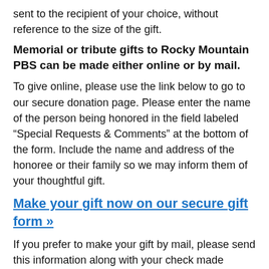sent to the recipient of your choice, without reference to the size of the gift.
Memorial or tribute gifts to Rocky Mountain PBS can be made either online or by mail.
To give online, please use the link below to go to our secure donation page. Please enter the name of the person being honored in the field labeled “Special Requests & Comments” at the bottom of the form. Include the name and address of the honoree or their family so we may inform them of your thoughtful gift.
Make your gift now on our secure gift form »
If you prefer to make your gift by mail, please send this information along with your check made payable to "Rocky Mountain PBS" to:
Membership Department
Rocky Mountain PBS
1089 Bannock St
Denver, CO 80204